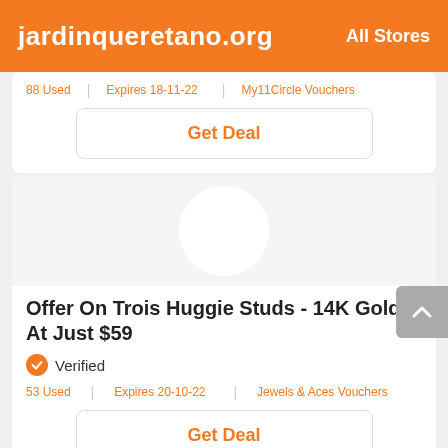jardinqueretano.org  All Stores
88 Used | Expires 18-11-22 | My11Circle Vouchers
Get Deal
[Figure (illustration): Product placeholder circle image area with white circle on light grey background]
Offer On Trois Huggie Studs - 14K Gold At Just $59
Verified
53 Used | Expires 20-10-22 | Jewels & Aces Vouchers
Get Deal